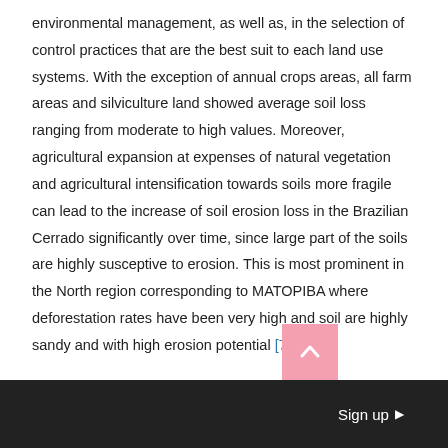environmental management, as well as, in the selection of control practices that are the best suit to each land use systems. With the exception of annual crops areas, all farm areas and silviculture land showed average soil loss ranging from moderate to high values. Moreover, agricultural expansion at expenses of natural vegetation and agricultural intensification towards soils more fragile can lead to the increase of soil erosion loss in the Brazilian Cerrado significantly over time, since large part of the soils are highly susceptive to erosion. This is most prominent in the North region corresponding to MATOPIBA where deforestation rates have been very high and soil are highly sandy and with high erosion potential [73] .
5. Conclusions
Sign up ▶